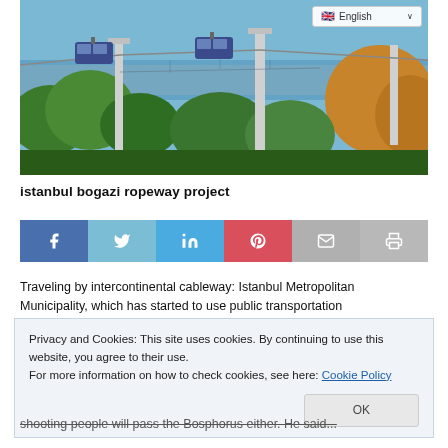[Figure (photo): Aerial gondola cable cars over lush green trees with Bosphorus strait visible in background, Istanbul]
istanbul bogazi ropeway project
[Figure (infographic): Social media share buttons: Facebook, Twitter, LinkedIn, Pinterest, Email, Print]
Traveling by intercontinental cableway: Istanbul Metropolitan Municipality, which has started to use public transportation
Privacy and Cookies: This site uses cookies. By continuing to use this website, you agree to their use.
For more information on how to check cookies, see here: Cookie Policy
OK
shooting people will pass the Bosphorus either. He said...